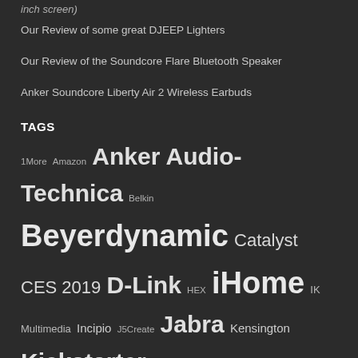inch screen)
Our Review of some great DJEEP Lighters
Our Review of the Soundcore Flare Bluetooth Speaker
Anker Soundcore Liberty Air 2 Wireless Earbuds
TAGS
1More Amazon Anker Audio-Technica Belkin Beyerdynamic Catalyst CES 2019 D-Link HEX iHome IK Multimedia Incipio J5Create Jabra Kensington Kickstarter Lenovo LG Lifeproof Limitless Innovations Logitech Microsoft myCharge Nokia Nomad Oculus rift Olloclip Otterbox Pelican phone cases ROCCAT Samsung